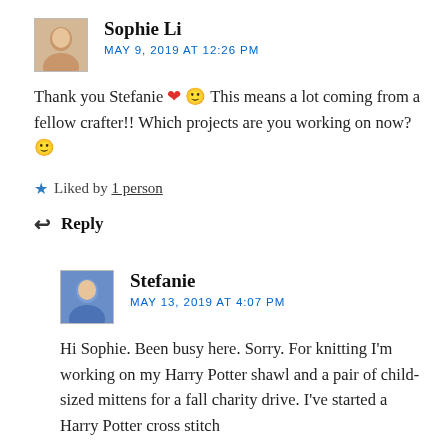[Figure (photo): Avatar photo of Sophie Li, small profile image]
Sophie Li
MAY 9, 2019 AT 12:26 PM
Thank you Stefanie ❤ 🙂 This means a lot coming from a fellow crafter!! Which projects are you working on now? 🙂
★ Liked by 1 person
↩ Reply
[Figure (photo): Avatar photo of Stefanie, small profile image]
Stefanie
MAY 13, 2019 AT 4:07 PM
Hi Sophie. Been busy here. Sorry. For knitting I'm working on my Harry Potter shawl and a pair of child-sized mittens for a fall charity drive. I've started a Harry Potter cross stitch